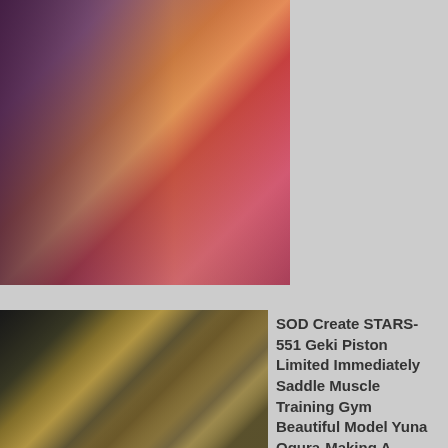[Figure (photo): Japanese adult DVD cover image showing cosplay content, with Japanese text and a cheerleader figure, top portion of the page]
[Figure (photo): Japanese adult DVD cover image for SOD Create STARS-551, showing gym/muscle training theme with Japanese text overlay]
SOD Create STARS-551 Geki Piston Limited Immediately Saddle Muscle Training Gym Beautiful Model Yuna Ogura-Making A Beautiful Body Trained With Cum Squid-